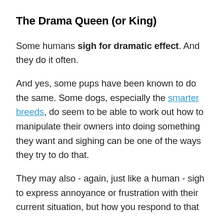The Drama Queen (or King)
Some humans sigh for dramatic effect. And they do it often.
And yes, some pups have been known to do the same. Some dogs, especially the smarter breeds, do seem to be able to work out how to manipulate their owners into doing something they want and sighing can be one of the ways they try to do that.
They may also - again, just like a human - sigh to express annoyance or frustration with their current situation, but how you respond to that